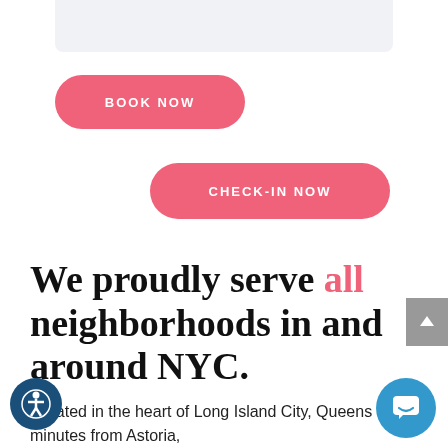[Figure (screenshot): Gray rounded rectangle at top representing a UI card or image placeholder]
BOOK NOW
CHECK-IN NOW
We proudly serve all neighborhoods in and around NYC.
Located in the heart of Long Island City, Queens and minutes from Astoria,